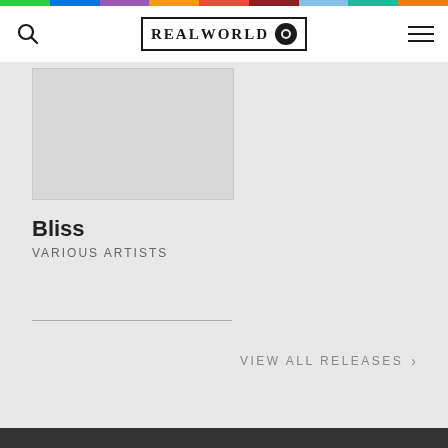Real World Records website header with rainbow bar, search icon, REALWORLD logo, and hamburger menu
[Figure (photo): Gray placeholder album artwork image]
Bliss
VARIOUS ARTISTS
VIEW ALL RELEASES